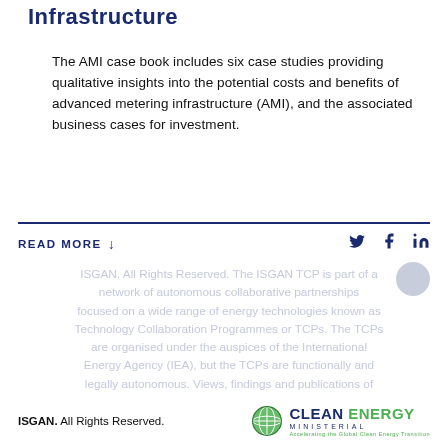Infrastructure
The AMI case book includes six case studies providing qualitative insights into the potential costs and benefits of advanced metering infrastructure (AMI), and the associated business cases for investment.
READ MORE ↓
ISGAN. All Rights Reserved. The ISGAN TCP is part of a network of autonomous collaborative partnerships focused on a wide range of energy technologies known as Technology Collaboration Programmes or TCPs. The TCPs are organised under the auspices of the International Energy Agency (IEA), but the TCPs are functionally and legally autonomous. Views, findings and publications of the ISGAN TCP do not necessarily represent the views of
ISGAN. All Rights Reserved.